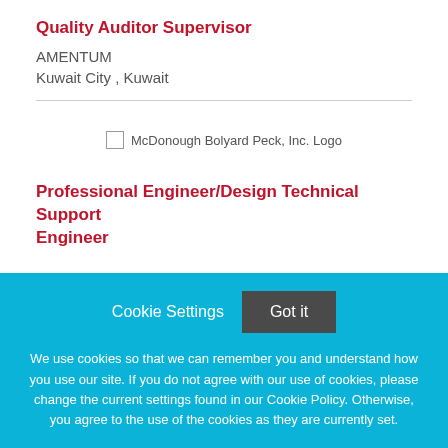Quality Auditor Supervisor
AMENTUM
Kuwait City , Kuwait
[Figure (logo): McDonough Bolyard Peck, Inc. Logo]
Professional Engineer/Design Technical Support Engineer
Cookie Settings
Got it
We use cookies so that we can remember you and understand how you use our site. If you do not agree with our use of cookies, please change the current settings found in our Cookie Policy. Otherwise, you agree to the use of the cookies as they are currently set.